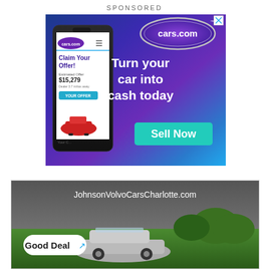SPONSORED
[Figure (photo): Cars.com advertisement with gradient blue-purple background showing a smartphone displaying the cars.com website with 'Claim Your Offer!' text and $15,279 estimated offer. Right side shows cars.com logo, tagline 'Turn your car into cash today' and a cyan 'Sell Now' button.]
[Figure (photo): Second advertisement banner showing JohnsonVolvoCarsCharlotte.com with a 'Good Deal' badge with blue arrow, showing a silver Volvo car on a green lawn background.]